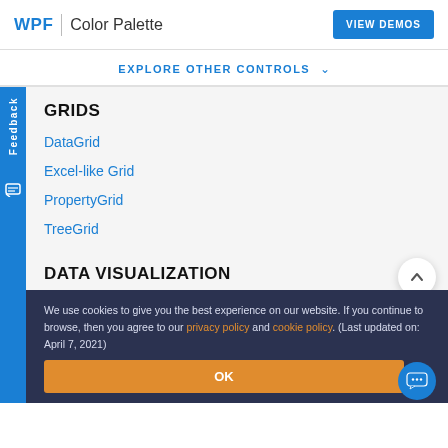WPF | Color Palette   VIEW DEMOS
EXPLORE OTHER CONTROLS
GRIDS
DataGrid
Excel-like Grid
PropertyGrid
TreeGrid
DATA VISUALIZATION
We use cookies to give you the best experience on our website. If you continue to browse, then you agree to our privacy policy and cookie policy. (Last updated on: April 7, 2021)
OK